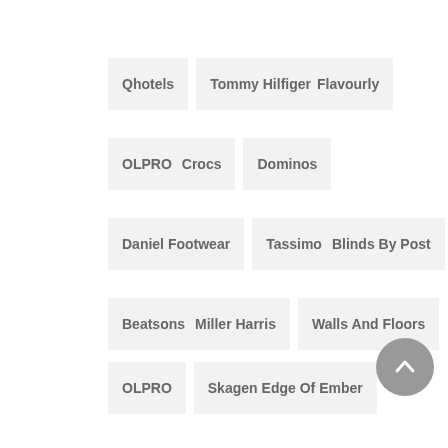Qhotels   Tommy Hilfiger   Flavourly
OLPRO   Crocs   Dominos
Daniel Footwear   Tassimo   Blinds By Post
Beatsons   Miller Harris   Walls And Floors
OLPRO   Skagen   Edge Of Ember
MotorEasy   Roxy   Swan   Buy A Gift
Shorefield   Treadmill